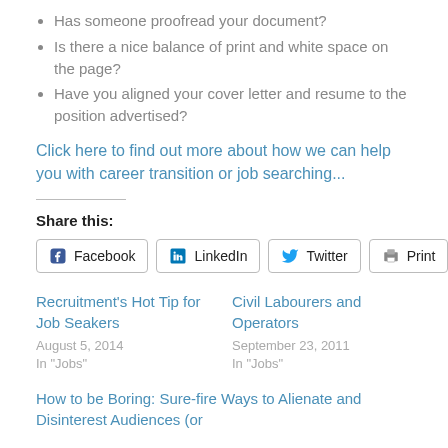Has someone proofread your document?
Is there a nice balance of print and white space on the page?
Have you aligned your cover letter and resume to the position advertised?
Click here to find out more about how we can help you with career transition or job searching...
Share this:
Facebook  LinkedIn  Twitter  Print
Recruitment's Hot Tip for Job Seakers
August 5, 2014
In "Jobs"
Civil Labourers and Operators
September 23, 2011
In "Jobs"
How to be Boring: Sure-fire Ways to Alienate and Disinterest Audiences (or